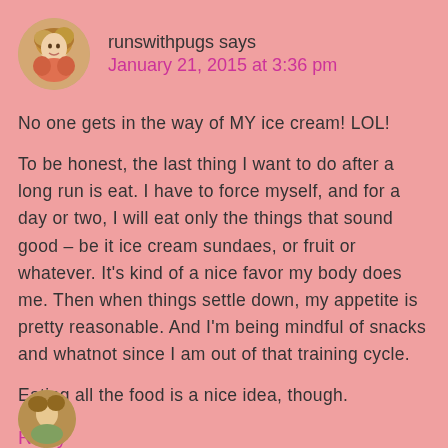runswithpugs says
January 21, 2015 at 3:36 pm
No one gets in the way of MY ice cream! LOL!
To be honest, the last thing I want to do after a long run is eat. I have to force myself, and for a day or two, I will eat only the things that sound good – be it ice cream sundaes, or fruit or whatever. It's kind of a nice favor my body does me. Then when things settle down, my appetite is pretty reasonable. And I'm being mindful of snacks and whatnot since I am out of that training cycle.
Eating all the food is a nice idea, though.
Reply